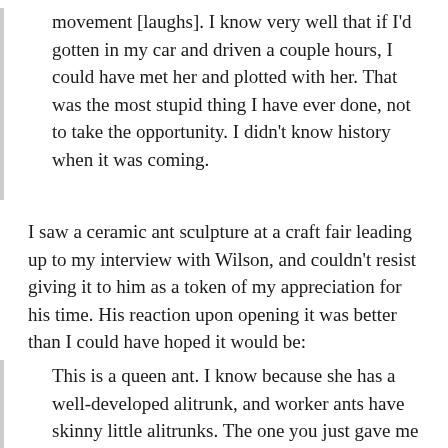movement [laughs]. I know very well that if I'd gotten in my car and driven a couple hours, I could have met her and plotted with her. That was the most stupid thing I have ever done, not to take the opportunity. I didn't know history when it was coming.
I saw a ceramic ant sculpture at a craft fair leading up to my interview with Wilson, and couldn't resist giving it to him as a token of my appreciation for his time. His reaction upon opening it was better than I could have hoped it would be:
This is a queen ant. I know because she has a well-developed alitrunk, and worker ants have skinny little alitrunks. The one you just gave me has a big, muscular looking thorax, so